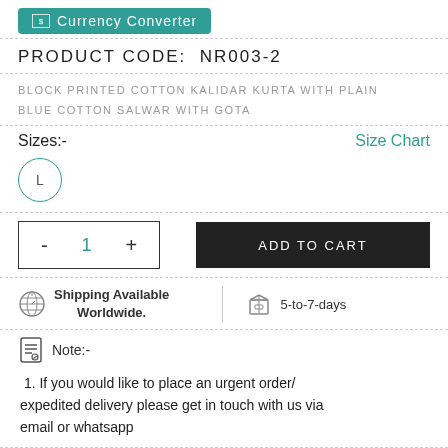Currency Converter
PRODUCT CODE:  NR003-2
BLOCK PRINTED COTTON KALIDAR KURTA WITH PLAIN BLUE COTTON SALWAR WITH GOTA
Sizes:-
Size Chart
L
- 1 +
ADD TO CART
Shipping Available Worldwide.
5-to-7-days
Note:-
1. If you would like to place an urgent order/ expedited delivery please get in touch with us via email or whatsapp